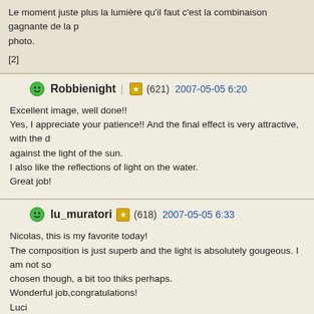Le moment juste plus la lumière qu'il faut c'est la combinaison gagnante de la photo.
[2]
Robbienight | (621) 2007-05-05 6:20
Excellent image, well done!!
Yes, I appreciate your patience!! And the final effect is very attractive, with the d against the light of the sun.
I also like the reflections of light on the water.
Great job!
lu_muratori (618) 2007-05-05 6:33
Nicolas, this is my favorite today!
The composition is just superb and the light is absolutely gougeous. I am not so chosen though, a bit too thiks perhaps.
Wonderful job,congratulations!
Luci
KevRyan (22956) 2007-05-05 6:40
You have created a poster to sell the city there Nicolas - excellent work - your p - the vision and composition are superb abd it is realised so well in this difficult l